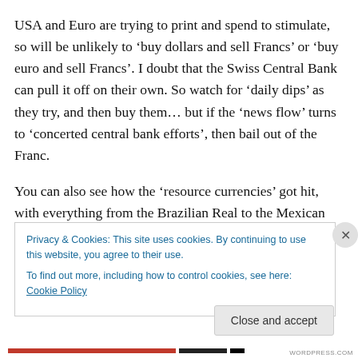USA and Euro are trying to print and spend to stimulate, so will be unlikely to ‘buy dollars and sell Francs’ or ‘buy euro and sell Francs’. I doubt that the Swiss Central Bank can pull it off on their own. So watch for ‘daily dips’ as they try, and then buy them… but if the ‘news flow’ turns to ‘concerted central bank efforts’, then bail out of the Franc.
You can also see how the ‘resource currencies’ got hit, with everything from the Brazilian Real to the Mexican Peso (and with the Aussie and Looney too) down about 3%. “As correlation moves to one”…
Privacy & Cookies: This site uses cookies. By continuing to use this website, you agree to their use.
To find out more, including how to control cookies, see here: Cookie Policy